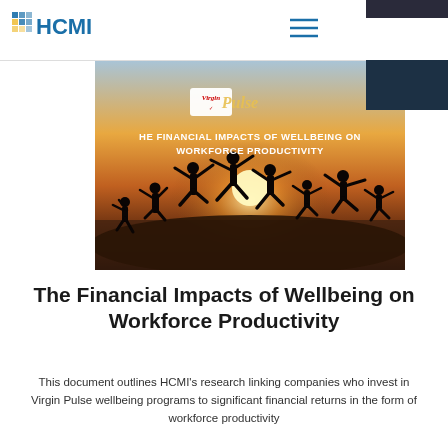HCMI
[Figure (photo): Hero image showing silhouettes of people jumping on a beach at sunset with 'Virgin Pulse' logo and text 'THE FINANCIAL IMPACTS OF WELLBEING ON WORKFORCE PRODUCTIVITY' overlaid]
The Financial Impacts of Wellbeing on Workforce Productivity
This document outlines HCMI's research linking companies who invest in Virgin Pulse wellbeing programs to significant financial returns in the form of workforce productivity